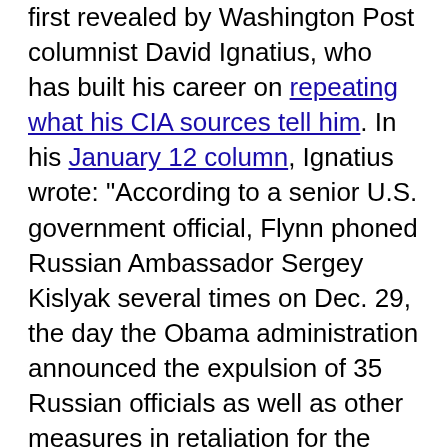first revealed by Washington Post columnist David Ignatius, who has built his career on repeating what his CIA sources tell him. In his January 12 column, Ignatius wrote: "According to a senior U.S. government official, Flynn phoned Russian Ambassador Sergey Kislyak several times on Dec. 29, the day the Obama administration announced the expulsion of 35 Russian officials as well as other measures in retaliation for the hacking."
That "senior U.S. government official" committed a serious felony by leaking to Ignatius the communication activities of Flynn. Similar and even more extreme crimes were committed by what the Washington Post called "nine current and former officials, who were in senior positions at multiple agencies at the time of the calls," who told the paper for its February 9 article that "Flynn privately discussed U.S. sanctions against Russia